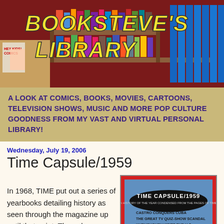[Figure (photo): Booksteve's Library blog banner showing a bookshelf filled with colorful books and comics, with yellow stylized block text reading BOOKSTEVE'S LIBRARY on a dark red background]
A LOOK AT COMICS, BOOKS, MOVIES, CARTOONS, TELEVISION SHOWS, MUSIC AND MORE POP CULTURE GOODNESS FROM MY VAST AND VIRTUAL PERSONAL LIBRARY!
Wednesday, July 19, 2006
Time Capsule/1959
In 1968, TIME put out a series of yearbooks detailing history as seen through the magazine up until that point. The only
[Figure (photo): Cover of Time Capsule/1959 book with red border, blue background, priced at $1.65. Title reads TIME CAPSULE/1959 A HISTORY OF THE YEAR CONDENSED FROM THE PAGES OF TIME. Lists: CASTRO CONQUERS CUBA, THE GREAT TV QUIZ-SHOW SCANDAL, KHRUSHCHEV VISITS THE U.S.]